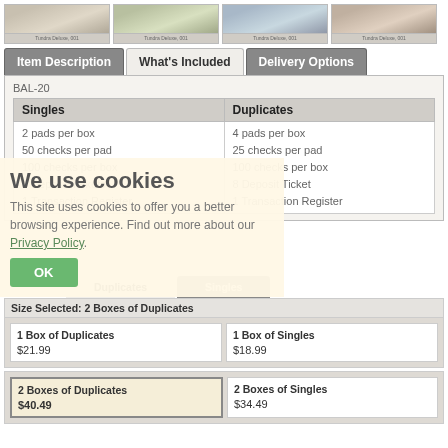[Figure (photo): Four thumbnail images of check designs arranged in a row]
|  | What's Included |  |
| --- | --- | --- |
| Item Description | What's Included | Delivery Options |
BAL-20
| Singles | Duplicates |
| --- | --- |
| 2 pads per box
50 checks per pad
100 checks per box
8 Deposit Tickets
1 Transaction Register | 4 pads per box
25 checks per pad
100 checks per box
8 Deposit Ticket
1 Transaction Register |
We use cookies
This site uses cookies to offer you a better browsing experience. Find out more about our Privacy Policy.
OK
Duplicates | Singles
Size Selected: 2 Boxes of Duplicates
| Duplicates | Singles |
| --- | --- |
| 1 Box of Duplicates
$21.99 | 1 Box of Singles
$18.99 |
| 2 Boxes of Duplicates
$40.49 | 2 Boxes of Singles
$34.49 |